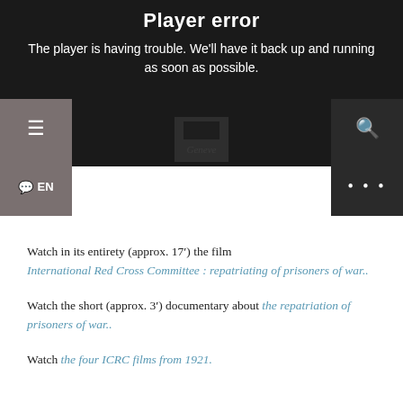[Figure (screenshot): Video player error screen with dark background showing 'Player error' title and message 'The player is having trouble. We'll have it back up and running as soon as possible.' with a faint image of a Geneve label visible behind the error overlay.]
Watch in its entirety (approx. 17′) the film International Red Cross Committee : repatriating of prisoners of war..
Watch the short (approx. 3′) documentary about the repatriation of prisoners of war..
Watch the four ICRC films from 1921.